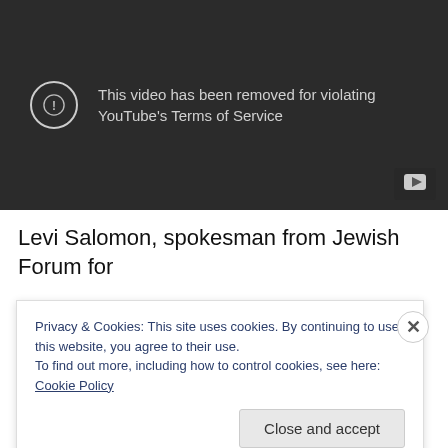[Figure (screenshot): YouTube video player showing error: 'This video has been removed for violating YouTube's Terms of Service']
Levi Salomon, spokesman from Jewish Forum for
Privacy & Cookies: This site uses cookies. By continuing to use this website, you agree to their use. To find out more, including how to control cookies, see here: Cookie Policy